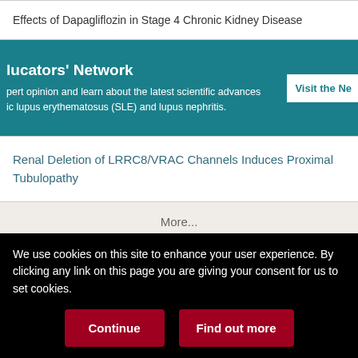Effects of Dapagliflozin in Stage 4 Chronic Kidney Disease
[Figure (other): Teal promotional banner for Educators' Network with text about expert opinion and scientific advances in lupus erythematosus (SLE) and lupus nephritis, and a 'Visit the Ne...' button]
Renal Deletion of LRRC8/VRAC Channels Induces Proximal Tubulopathy
More...
Articles | Information for | More Information
We use cookies on this site to enhance your user experience. By clicking any link on this page you are giving your consent for us to set cookies.